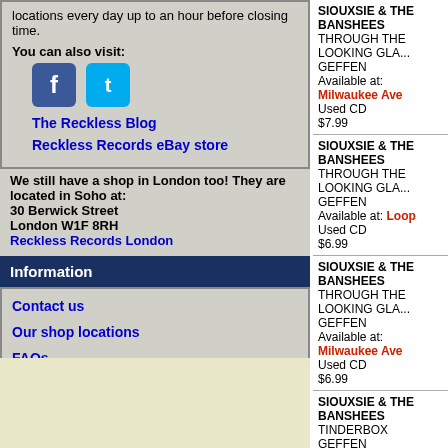locations every day up to an hour before closing time.
You can also visit:
The Reckless Blog
Reckless Records eBay store
We still have a shop in London too! They are located in Soho at: 30 Berwick Street London W1F 8RH Reckless Records London
Information
Contact us
Our shop locations
FAQs
Gift Certificates
Reckless T-Shirts!
SIOUXSIE & THE BANSHEES - THROUGH THE LOOKING GLA... - GEFFEN - Available at: Milwaukee Ave - Used CD - $7.99
SIOUXSIE & THE BANSHEES - THROUGH THE LOOKING GLA... - GEFFEN - Available at: Loop - Used CD - $6.99
SIOUXSIE & THE BANSHEES - THROUGH THE LOOKING GLA... - GEFFEN - Available at: Milwaukee Ave - Used CD - $6.99
SIOUXSIE & THE BANSHEES - TINDERBOX - GEFFEN - Available at: Loop - Used CD - $9.99
SIOUXSIE & THE BANSHEES - TWICE UPON A TIME: THE SIN... - GEFFEN - Available at: All Stores - Used CD - $6.99
SEVEN YEAR ITCH LIVE SHEPHERDS BUSH EMPIRE L... - SIOUXSIE & THE BANSHEES - SANCTUARY